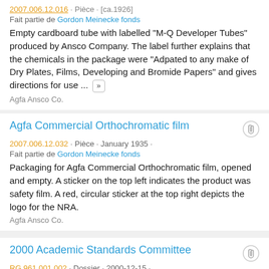Fait partie de Gordon Meinecke fonds
Empty cardboard tube with labelled "M-Q Developer Tubes" produced by Ansco Company. The label further explains that the chemicals in the package were "Adpated to any make of Dry Plates, Films, Developing and Bromide Papers" and gives directions for use ...
Agfa Ansco Co.
Agfa Commercial Orthochromatic film
2007.006.12.032 · Pièce · January 1935 ·
Fait partie de Gordon Meinecke fonds
Packaging for Agfa Commercial Orthochromatic film, opened and empty. A sticker on the top left indicates the product was safety film. A red, circular sticker at the top right depicts the logo for the NRA.
Agfa Ansco Co.
2000 Academic Standards Committee
RG 961.001.002 · Dossier · 2000-12-15 ·
Fait partie de Office of the Vice Provost Academic
File contains memo to the Academic Standards Committee regarding the minor in Occupational Health and Safety being